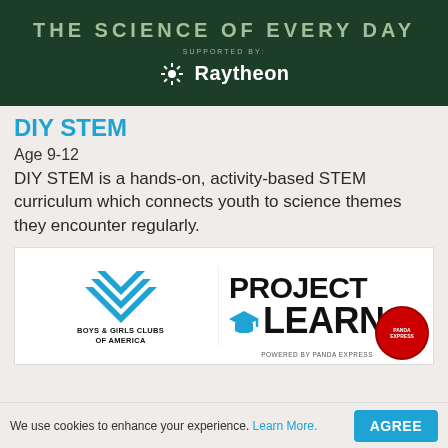[Figure (photo): Dark green chalkboard background with text 'THE SCIENCE OF EVERY DAY' at top, 'SUPPORTED BY:' below, and Raytheon logo (sunburst icon + Raytheon wordmark in white)]
DIY STEM
Age 9-12
DIY STEM is a hands-on, activity-based STEM curriculum which connects youth to science themes they encounter regularly.
[Figure (logo): Boys & Girls Clubs of America logo (blue stacked chevrons icon) with 'BOYS & GIRLS CLUBS OF AMERICA' text, alongside 'PROJECT LEARN' logo with blue graduation cap icon, powered by Panda Express]
We use cookies to enhance your experience. Learn More.
AGREE